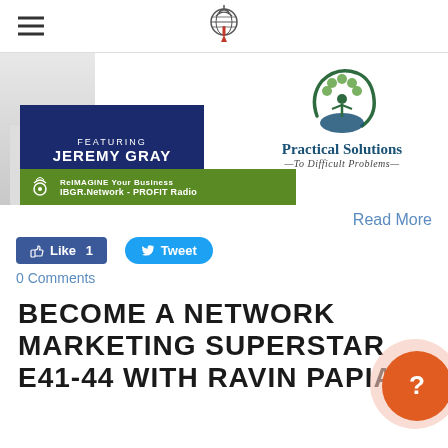[Figure (illustration): Promotional banner featuring Jeremy Gray, with Practical Solutions To Difficult Problems logo and IBGR.Network PROFIT Radio branding]
Read More
[Figure (infographic): Facebook Like 1 button and Twitter Tweet button]
0 Comments
BECOME A NETWORK MARKETING SUPERSTAR E41-44 WITH RAVIN PAPIAH